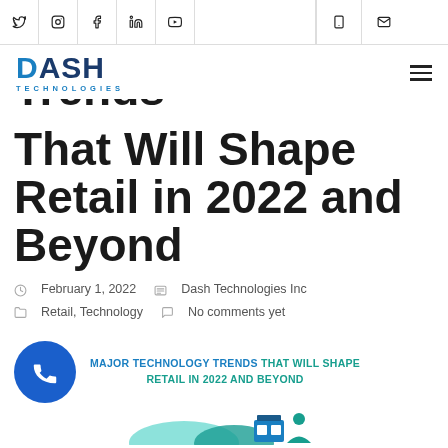Navigation bar with social icons: Twitter, Instagram, Facebook, LinkedIn, YouTube; and phone, email icons on right
[Figure (logo): Dash Technologies logo — bold blue DASH with D in lighter blue, TECHNOLOGIES in teal below]
That Will Shape Retail in 2022 and Beyond
February 1, 2022   Dash Technologies Inc   Retail, Technology   No comments yet
[Figure (infographic): Infographic teaser with blue phone circle button and teal/blue text: MAJOR TECHNOLOGY TRENDS THAT WILL SHAPE RETAIL IN 2022 AND BEYOND, with partial illustration at bottom]